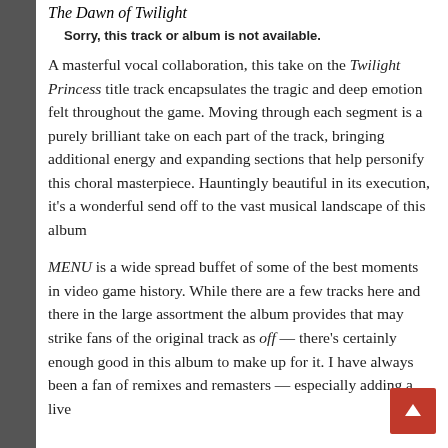The Dawn of Twilight
Sorry, this track or album is not available.
A masterful vocal collaboration, this take on the Twilight Princess title track encapsulates the tragic and deep emotion felt throughout the game. Moving through each segment is a purely brilliant take on each part of the track, bringing additional energy and expanding sections that help personify this choral masterpiece. Hauntingly beautiful in its execution, it's a wonderful send off to the vast musical landscape of this album
MENU is a wide spread buffet of some of the best moments in video game history. While there are a few tracks here and there in the large assortment the album provides that may strike fans of the original track as off — there's certainly enough good in this album to make up for it. I have always been a fan of remixes and remasters — especially adding a live...